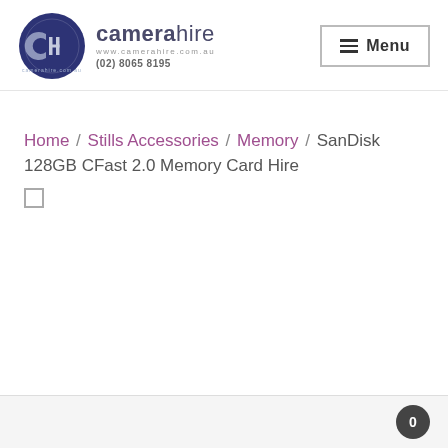[Figure (logo): Camera hire logo: dark blue circle with stylized C and H letters, alongside text 'camerahire' with website www.camerahire.com.au and phone (02) 8065 8195]
≡ Menu
Home / Stills Accessories / Memory / SanDisk 128GB CFast 2.0 Memory Card Hire
□
0